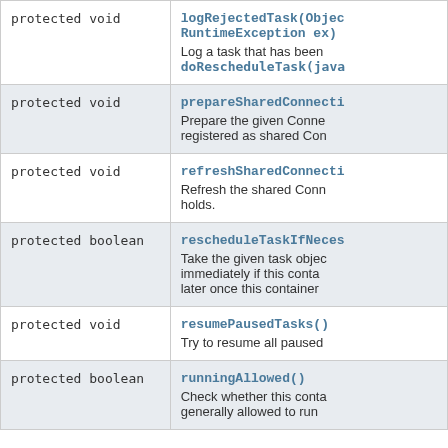| Modifier and Type | Method and Description |
| --- | --- |
| protected void | logRejectedTask(Objec RuntimeException ex)
Log a task that has been
doRescheduleTask(java |
| protected void | prepareSharedConnecti
Prepare the given Conne registered as shared Con |
| protected void | refreshSharedConnecti
Refresh the shared Conn holds. |
| protected boolean | rescheduleTaskIfNeces
Take the given task objec immediately if this conta later once this container |
| protected void | resumePausedTasks()
Try to resume all paused |
| protected boolean | runningAllowed()
Check whether this conta generally allowed to run |